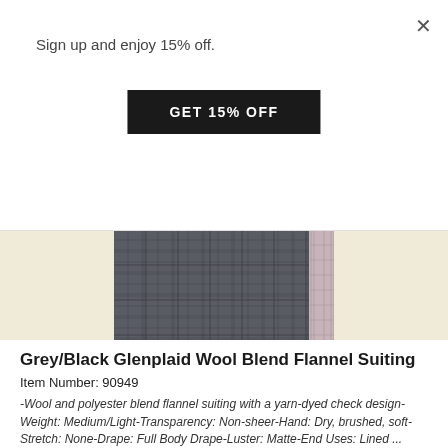Sign up and enjoy 15% off.
GET 15% OFF
[Figure (photo): Swatch of grey/black glenplaid wool blend flannel suiting fabric with a visible selvage edge on the right side.]
Sold Out
Grey/Black Glenplaid Wool Blend Flannel Suiting
Item Number: 90949
-Wool and polyester blend flannel suiting with a yarn-dyed check design-Weight: Medium/Light-Transparency: Non-sheer-Hand: Dry, brushed, soft-Stretch: None-Drape: Full Body Drape-Luster: Matte-End Uses: Lined ...